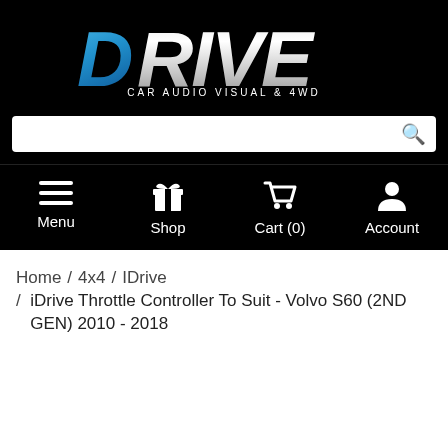[Figure (logo): Drive Car Audio Visual & 4WD logo — bold italic stylized 'DRIVE' text in blue/silver chrome gradient, with subtitle 'CAR AUDIO VISUAL & 4WD' in white on black background]
[Figure (screenshot): Website navigation: search bar with magnifying glass icon, then four nav items: Menu (hamburger icon), Shop (gift icon), Cart (0) (cart icon), Account (person icon) — all white on black]
Home / 4x4 / IDrive / iDrive Throttle Controller To Suit - Volvo S60 (2ND GEN) 2010 - 2018